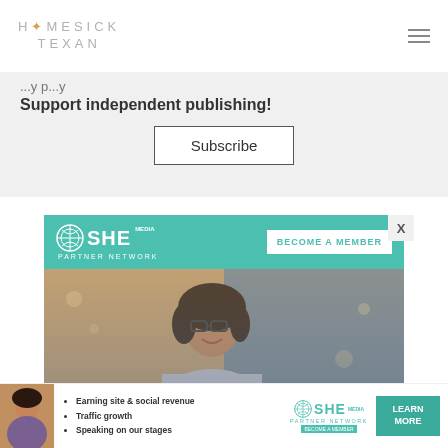HOMESICK TEXAN
Support independent publishing!
Subscribe
[Figure (advertisement): SHE Media Partner Network advertisement with teal header featuring SHE Media logo and 'BECOME A MEMBER' button, photo of smiling woman with glasses using laptop in cafe setting, and teal bottom bar.]
[Figure (advertisement): SHE Media Partner Network bottom banner ad with woman photo, bullet points: Earning site & social revenue, Traffic growth, Speaking on our stages, SHE Media logo, and LEARN MORE button.]